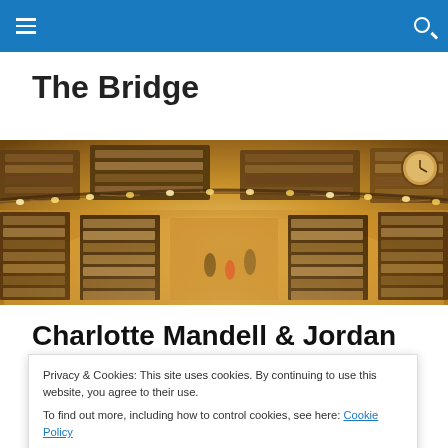The Bridge
[Figure (photo): Wide-angle fisheye view of a large circular bookstore interior with shelves full of books on multiple levels, warm golden lighting, with customers browsing.]
Charlotte Mandell & Jordan
Privacy & Cookies: This site uses cookies. By continuing to use this website, you agree to their use.
To find out more, including how to control cookies, see here: Cookie Policy
Close and accept
November, at Mercury Jackson Books